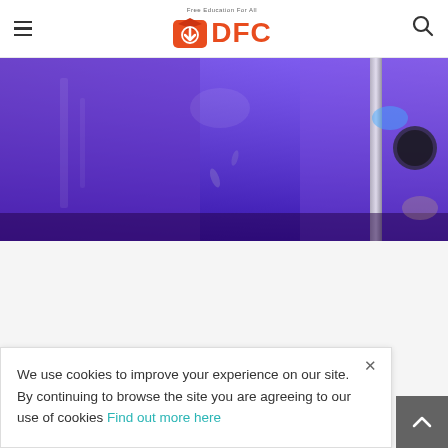DFC – Free Education For All (site header with hamburger menu and search icon)
[Figure (photo): Hero image showing the interior of what appears to be a gym or studio with purple/blue lighting and equipment silhouettes]
We use cookies to improve your experience on our site. By continuing to browse the site you are agreeing to our use of cookies Find out more here